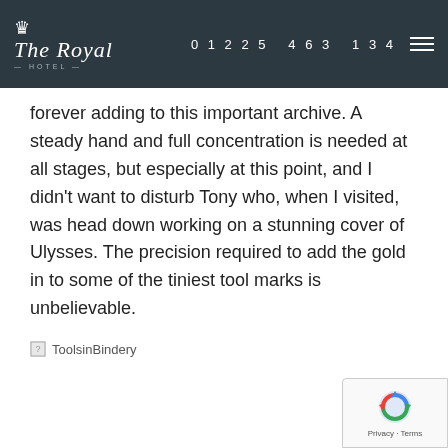The Royal Hotel — 01225 463 134
forever adding to this important archive. A steady hand and full concentration is needed at all stages, but especially at this point, and I didn't want to disturb Tony who, when I visited, was head down working on a stunning cover of Ulysses. The precision required to add the gold in to some of the tiniest tool marks is unbelievable.
[Figure (photo): Broken image placeholder labeled 'ToolsinBindery']